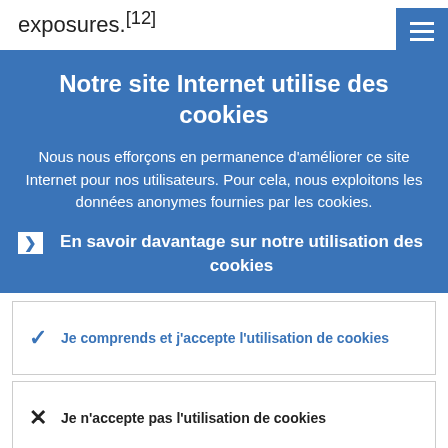exposures.[12]
Notre site Internet utilise des cookies
Nous nous efforçons en permanence d'améliorer ce site Internet pour nos utilisateurs. Pour cela, nous exploitons les données anonymes fournies par les cookies.
› En savoir davantage sur notre utilisation des cookies
✓ Je comprends et j'accepte l'utilisation de cookies
✗ Je n'accepte pas l'utilisation de cookies